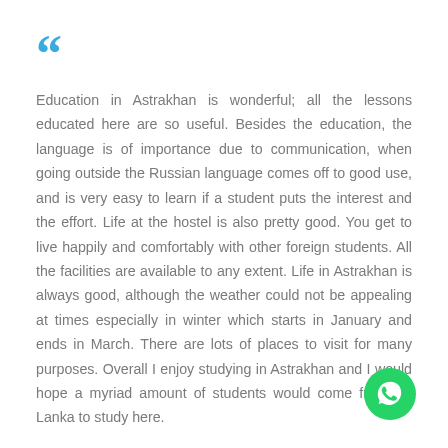[Figure (other): Large blue opening quotation mark decorative element]
Education in Astrakhan is wonderful; all the lessons educated here are so useful. Besides the education, the language is of importance due to communication, when going outside the Russian language comes off to good use, and is very easy to learn if a student puts the interest and the effort. Life at the hostel is also pretty good. You get to live happily and comfortably with other foreign students. All the facilities are available to any extent. Life in Astrakhan is always good, although the weather could not be appealing at times especially in winter which starts in January and ends in March. There are lots of places to visit for many purposes. Overall I enjoy studying in Astrakhan and I would hope a myriad amount of students would come from Sri Lanka to study here.
Nuwan Liyanage, Sri Lanka
01 October, 2018
[Figure (logo): WhatsApp green circular icon with phone handset symbol]